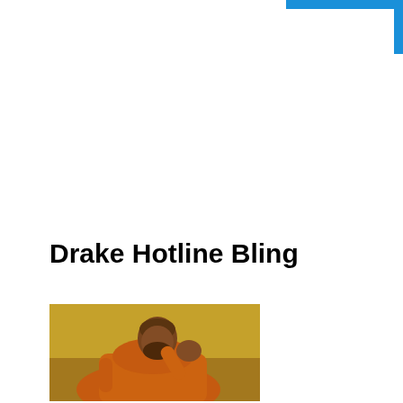Drake Hotline Bling
[Figure (photo): Drake Hotline Bling meme — man in orange hoodie with yellow background, raising hand near face in dismissive gesture]